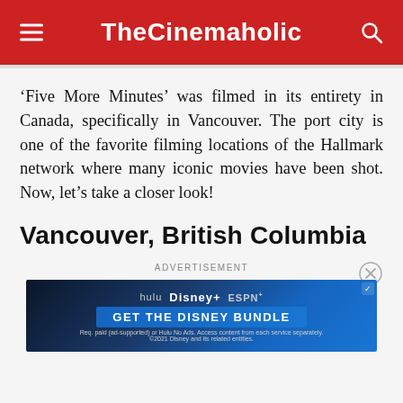TheCinemaholic
‘Five More Minutes’ was filmed in its entirety in Canada, specifically in Vancouver. The port city is one of the favorite filming locations of the Hallmark network where many iconic movies have been shot. Now, let’s take a closer look!
Vancouver, British Columbia
[Figure (screenshot): Advertisement banner for the Disney Bundle featuring Hulu, Disney+, and ESPN+ logos with a blue gradient background and 'GET THE DISNEY BUNDLE' call to action.]